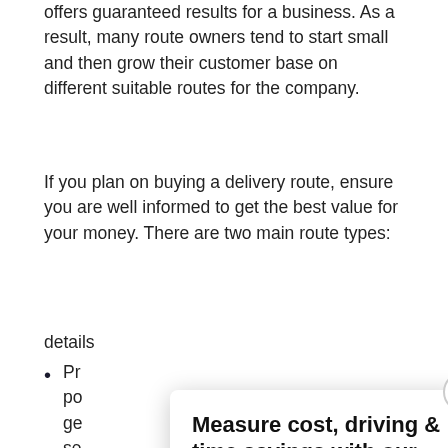offers guaranteed results for a business. As a result, many route owners tend to start small and then grow their customer base on different suitable routes for the company.
If you plan on buying a delivery route, ensure you are well informed to get the best value for your money. There are two main route types:
details
Pr… po… ge… se…
[Figure (infographic): A popup/modal overlay with a close button (X), bold headline 'Measure cost, driving & time savings with our ROI calculator!', and a dark navy blue button labeled 'SEE MY SAVINGS'.]